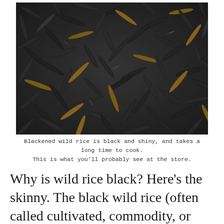[Figure (photo): Close-up photograph of blackened wild rice grains, dark/black elongated grains piled together with some brown-tipped grains visible]
Blackened wild rice is black and shiny, and takes a long time to cook. This is what you'll probably see at the store.
Why is wild rice black? Here's the skinny. The black wild rice (often called cultivated, commodity, or black paddy rice) you commonly see in stores is from the same